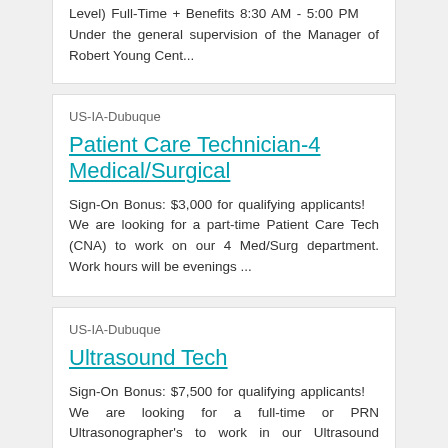Level) Full-Time + Benefits 8:30 AM - 5:00 PM    Under the general supervision of the Manager of Robert Young Cent...
US-IA-Dubuque
Patient Care Technician-4 Medical/Surgical
Sign-On Bonus: $3,000 for qualifying applicants!   We are looking for a part-time Patient Care Tech (CNA) to work on our 4 Med/Surg department. Work hours will be evenings ...
US-IA-Dubuque
Ultrasound Tech
Sign-On Bonus: $7,500 for qualifying applicants!   We are looking for a full-time or PRN Ultrasonographer's to work in our Ultrasound department. Work hours will be days, 8:(...
1
2
3
>
Last